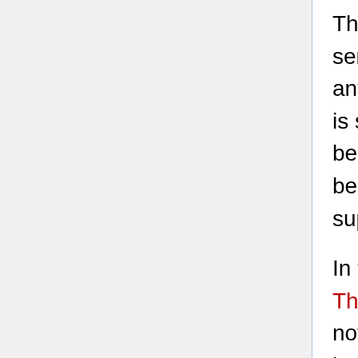This is not hypothesis testing in Popper's sense, because the hypothesis is not put at any hazard of disproof. Verification of this type is something that Popper considered to be, at best, weak corroborative evidence, partly because it is impossible to measure the support that such evidence provides. [40]
In the 18th century, an English clergyman, Thomas Bayes (1702-1761) proved a result, now known as Bayes' theorem, that, in some interpretations, provides a formal method for revising beliefs in the light of new evidence [41]. It has been argued that Bayesian statistics can be used to provide a basis for support by induction, and some areas of science use these approaches. Bayesian statistics measures how the probability